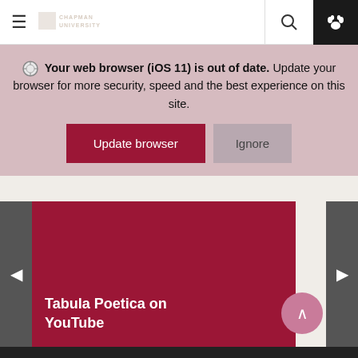[Figure (screenshot): Chapman University website navigation bar with hamburger menu, logo, search icon, and paw icon on dark background]
Your web browser (iOS 11) is out of date. Update your browser for more security, speed and the best experience on this site.
[Figure (screenshot): Two buttons: 'Update browser' (dark red) and 'Ignore' (grey)]
[Figure (screenshot): Carousel slide with dark red background showing 'Tabula Poetica on YouTube' text, with previous and next navigation arrows]